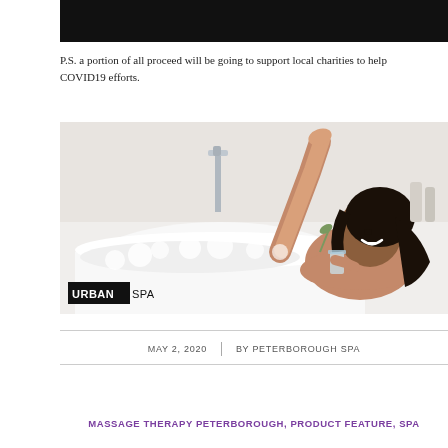[Figure (photo): Black banner/header image at top of page]
P.S. a portion of all proceed will be going to support local charities to help COVID19 efforts.
[Figure (photo): Woman relaxing in a bubble bath with leg raised, smiling and holding a glass, with URBAN SPA logo in bottom left corner]
MAY 2, 2020 | BY PETERBOROUGH SPA
MASSAGE THERAPY PETERBOROUGH, PRODUCT FEATURE, SPA